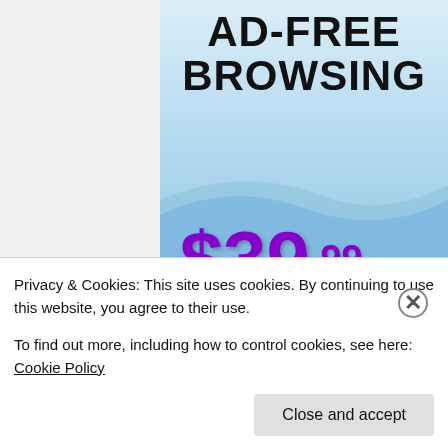[Figure (infographic): Ad banner with light blue gradient background showing 'AD-FREE BROWSING' in large bold black text, with pricing: $39.99 a year in purple, or $4.99 a month in white, plus FREE SHIPPING]
Privacy & Cookies: This site uses cookies. By continuing to use this website, you agree to their use.
To find out more, including how to control cookies, see here: Cookie Policy
Close and accept